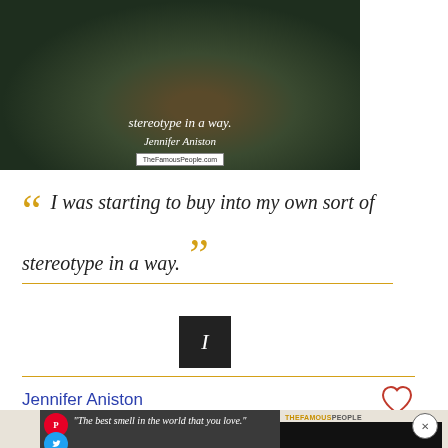[Figure (photo): Dark nature/animal background image with quote text overlay showing 'stereotype in a way.' and signature 'Jennifer Aniston' and TheFamousPeople.com watermark]
I was starting to buy into my own sort of stereotype in a way.
Jennifer Aniston
[Figure (photo): Bottom promotional card with dark background showing partial quote 'The best smell in the world... that you love.' with Pinterest and Twitter share buttons, TheFamousPeople branding, and close button]